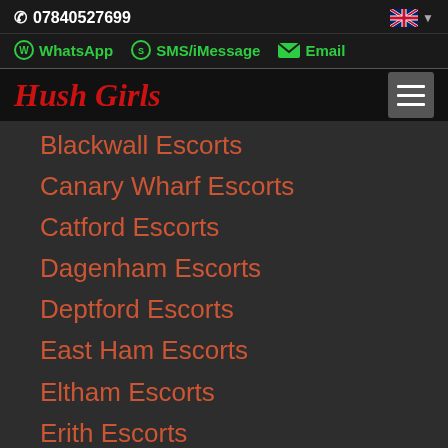07840527699
WhatsApp  SMS/iMessage  Email
Hush Girls
Blackwall Escorts
Canary Wharf Escorts
Catford Escorts
Dagenham Escorts
Deptford Escorts
East Ham Escorts
Eltham Escorts
Erith Escorts
Forest Hill Escorts
Goodmayes Escorts
Greenwich Escorts